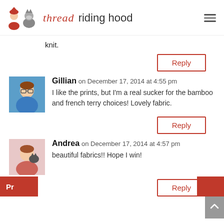thread riding hood
knit.
Reply
Gillian on December 17, 2014 at 4:55 pm
I like the prints, but I'm a real sucker for the bamboo and french terry choices! Lovely fabric.
Reply
Andrea on December 17, 2014 at 4:57 pm
beautiful fabrics!! Hope I win!
Reply